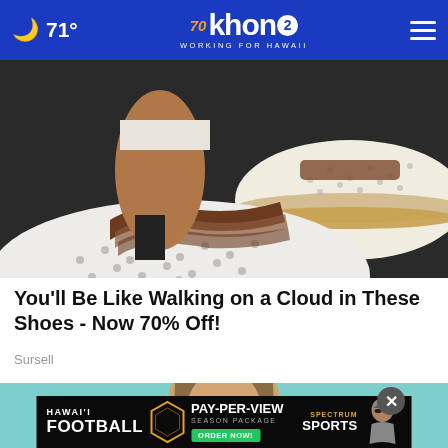71° khon2 WORKING FOR HAWAII
[Figure (photo): Close-up photo of a person wearing white perforated slip-on shoes with brown leather accents and cork-style sole on a dark surface]
You'll Be Like Walking on a Cloud in These Shoes - Now 70% Off!
Sursell
[Figure (photo): Partial view of a woman with straight brown hair on a light teal/mint background]
[Figure (infographic): Hawai'i Football Pay-Per-View Season Package advertisement banner with Order Now button and Spectrum Sports logo]